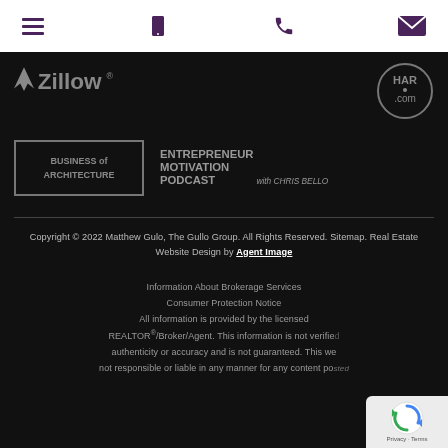[Figure (logo): Navigation header bar with hamburger menu icon, phone icon, and email icon on white background]
[Figure (logo): Zillow logo in gray on dark background]
[Figure (logo): HAR.com circular logo in gray on dark background]
[Figure (logo): Business of Architecture logo in bordered box, gray on dark background]
[Figure (logo): Entrepreneur Motivation Podcast with Chris Bello logo text in gray on dark background]
Copyright © 2022 Matthew Gulo, The Gullo Group. All Rights Reserved. Sitemap. Real Estate Website Design by Agent Image
Information About Brokerage Services
Consumer Protection Notice
All information is provided by the licensed REALTOR®/Broker/Agent. This information is not verified for authenticity or accuracy and is not guaranteed. This we… not responsible or liable in any manner for any content posted…